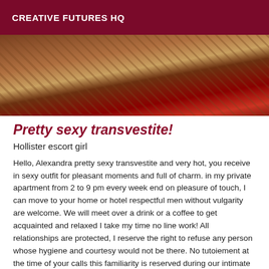CREATIVE FUTURES HQ
[Figure (photo): Close-up photo of a wooden floor with a hand holding red fabric/clothing]
Pretty sexy transvestite!
Hollister escort girl
Hello, Alexandra pretty sexy transvestite and very hot, you receive in sexy outfit for pleasant moments and full of charm. in my private apartment from 2 to 9 pm every week end on pleasure of touch, I can move to your home or hotel respectful men without vulgarity are welcome. We will meet over a drink or a coffee to get acquainted and relaxed I take my time no line work! All relationships are protected, I reserve the right to refuse any person whose hygiene and courtesy would not be there. No tutoiement at the time of your calls this familiarity is reserved during our intimate moments thank